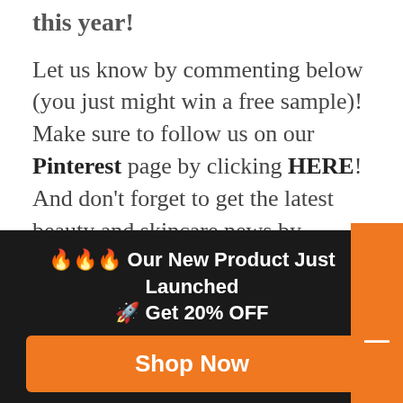this year!
Let us know by commenting below (you just might win a free sample)! Make sure to follow us on our Pinterest page by clicking HERE! And don't forget to get the latest beauty and skincare news by following us on Facebook, Twitter & Instagram @BeautyStat! #bstat
– Dawn Santamarina, Managing
🔥🔥🔥 Our New Product Just Launched 🚀 Get 20% OFF
Shop Now